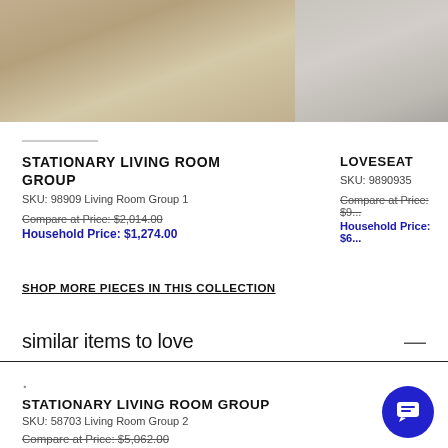[Figure (photo): Living room set with sofa, coffee table on hardwood floor with rug]
[Figure (photo): Close-up of grey loveseat fabric and legs]
STATIONARY LIVING ROOM GROUP
SKU: 98909 Living Room Group 1
Compare at Price: $2,014.00
Household Price: $1,274.00
LOVESEAT
SKU: 9890935
Compare at Price: $9...
Household Price: $6...
SHOP MORE PIECES IN THIS COLLECTION
similar items to love
.
STATIONARY LIVING ROOM GROUP
SKU: 58703 Living Room Group 2
Compare at Price: $5,062.00